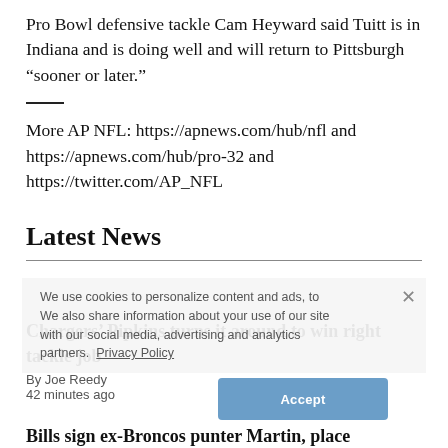Pro Bowl defensive tackle Cam Heyward said Tuitt is in Indiana and is doing well and will return to Pittsburgh “sooner or later.”
More AP NFL: https://apnews.com/hub/nfl and https://apnews.com/hub/pro-32 and https://twitter.com/AP_NFL
Latest News
Chargers’ Pipkins turns it around to win right tackle job
By Joe Reedy
42 minutes ago
Bills sign ex-Broncos punter Martin, place Stevenson on IR
We use cookies to personalize content and ads, to We also share information about your use of our site with our social media, advertising and analytics partners. Privacy Policy